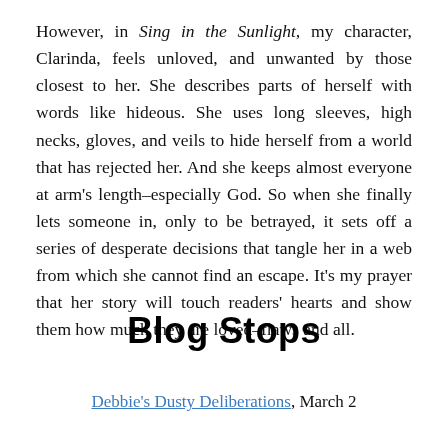However, in Sing in the Sunlight, my character, Clarinda, feels unloved, and unwanted by those closest to her. She describes parts of herself with words like hideous. She uses long sleeves, high necks, gloves, and veils to hide herself from a world that has rejected her. And she keeps almost everyone at arm's length–especially God. So when she finally lets someone in, only to be betrayed, it sets off a series of desperate decisions that tangle her in a web from which she cannot find an escape. It's my prayer that her story will touch readers' hearts and show them how much they are loved–flaws and all.
Blog Stops
Debbie's Dusty Deliberations, March 2